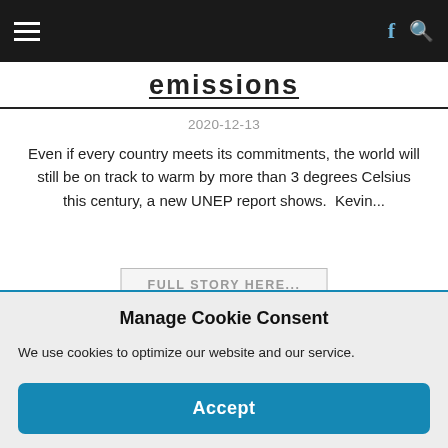emissions
2020-12-13
Even if every country meets its commitments, the world will still be on track to warm by more than 3 degrees Celsius this century, a new UNEP report shows. Kevin...
FULL STORY HERE...
[Figure (photo): Photo of a tropical beach scene with a large tree silhouetted against a blue sky]
The Marshall Islands could be wiped out by climate change – and their colonial history limits their ability to save themselves
2020-12-13
Manage Cookie Consent
We use cookies to optimize our website and our service.
Accept